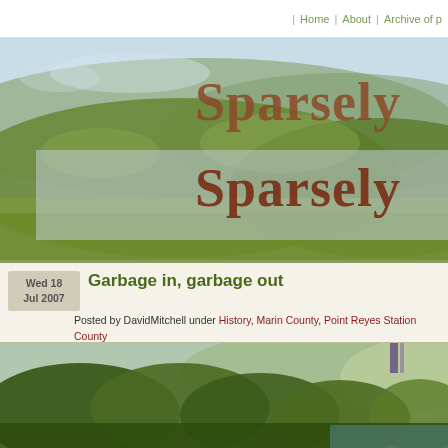| Home | About | Archive of p
[Figure (photo): Panoramic landscape banner showing rolling hills with green vegetation, sky with light clouds, and text overlay reading 'Sparsely' twice in a rustic brown serif font]
Garbage in, garbage out
Posted by DavidMitchell under History, Marin County, Point Reyes Station County
[3] Comments
[Figure (photo): Landscape photo showing dense green shrubs and trees with hills in the background and what appears to be a waterway or marsh in the lower right]